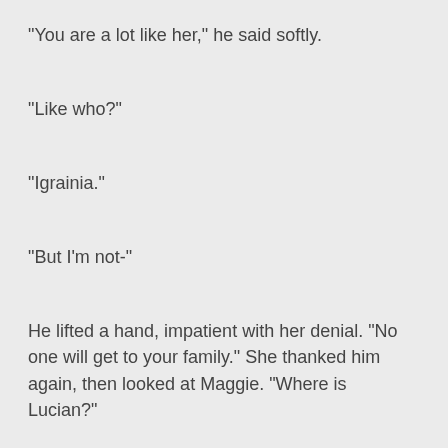"You are a lot like her," he said softly.
"Like who?"
"Igrainia."
"But I'm not-"
He lifted a hand, impatient with her denial. "No one will get to your family." She thanked him again, then looked at Maggie. "Where is Lucian?"